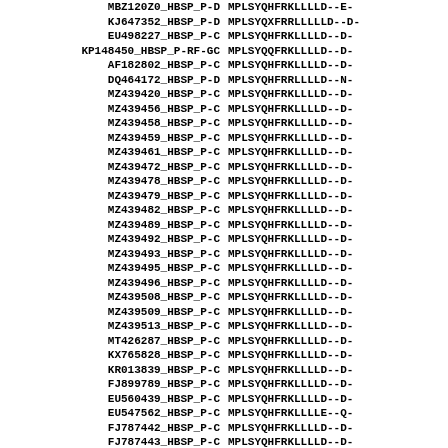| Sequence ID | Sequence |
| --- | --- |
| MBZ120Z0_HBSP_P-D | MPLSYQHFRKLLLLD--E- |
| KJ647352_HBSP_P-D | MPLSYQXFRRLLLLLD--D- |
| EU498227_HBSP_P-C | MPLSYQHFRKLLLLD--D- |
| KP148450_HBSP_P-RF-GC | MPLSYQQFRKLLLLD--D- |
| AF182802_HBSP_P-C | MPLSYQHFRKLLLLD--D- |
| DQ464172_HBSP_P-D | MPLSYQHFRRLLLLD--N- |
| MZ439420_HBSP_P-C | MPLSYQHFRKLLLLD--D- |
| MZ439456_HBSP_P-C | MPLSYQHFRKLLLLD--D- |
| MZ439458_HBSP_P-C | MPLSYQHFRKLLLLD--D- |
| MZ439459_HBSP_P-C | MPLSYQHFRKLLLLD--D- |
| MZ439461_HBSP_P-C | MPLSYQHFRKLLLLD--D- |
| MZ439472_HBSP_P-C | MPLSYQHFRKLLLLD--D- |
| MZ439478_HBSP_P-C | MPLSYQHFRKLLLLD--D- |
| MZ439479_HBSP_P-C | MPLSYQHFRKLLLLD--D- |
| MZ439482_HBSP_P-C | MPLSYQHFRKLLLLD--D- |
| MZ439489_HBSP_P-C | MPLSYQHFRKLLLLD--D- |
| MZ439492_HBSP_P-C | MPLSYQHFRKLLLLD--D- |
| MZ439493_HBSP_P-C | MPLSYQHFRKLLLLD--D- |
| MZ439495_HBSP_P-C | MPLSYQHFRKLLLLD--D- |
| MZ439496_HBSP_P-C | MPLSYQHFRKLLLLD--D- |
| MZ439508_HBSP_P-C | MPLSYQHFRKLLLLD--D- |
| MZ439509_HBSP_P-C | MPLSYQHFRKLLLLD--D- |
| MZ439513_HBSP_P-C | MPLSYQHFRKLLLLD--D- |
| MT426287_HBSP_P-C | MPLSYQHFRKLLLLD--D- |
| KX765828_HBSP_P-C | MPLSYQHFRKLLLLD--D- |
| KR013839_HBSP_P-C | MPLSYQHFRKLLLLD--D- |
| FJ899789_HBSP_P-C | MPLSYQHFRKLLLLD--D- |
| EU560439_HBSP_P-C | MPLSYQHFRKLLLLD--D- |
| EU547562_HBSP_P-C | MPLSYQHFRKLLLLE--Q- |
| FJ787442_HBSP_P-C | MPLSYQHFRKLLLLD--D- |
| FJ787443_HBSP_P-C | MPLSYQHFRKLLLLD--D- |